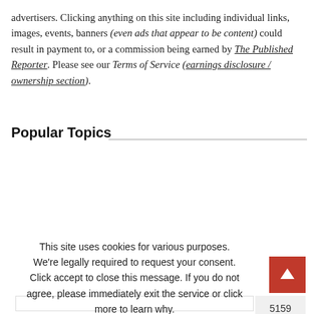advertisers. Clicking anything on this site including individual links, images, events, banners (even ads that appear to be content) could result in payment to, or a commission being earned by The Published Reporter. Please see our Terms of Service (earnings disclosure / ownership section).
Popular Topics
[Figure (other): Cookie consent overlay with text 'This site uses cookies for various purposes. We're legally required to request your consent. Click accept to close this message. If you do not agree, please immediately exit the service or click more to learn why.' and two buttons: green Accept button and black More button. To the right are numbered badges showing 5159, 3154, 2981, 2294, 1990. A red arrow-up button is in the bottom right corner.]